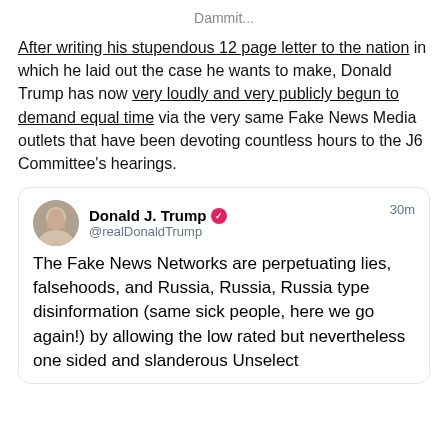Dammit...
After writing his stupendous 12 page letter to the nation in which he laid out the case he wants to make, Donald Trump has now very loudly and very publicly begun to demand equal time via the very same Fake News Media outlets that have been devoting countless hours to the J6 Committee's hearings.
[Figure (screenshot): Embedded tweet from Donald J. Trump (@realDonaldTrump) posted 30 minutes ago. Tweet text: 'The Fake News Networks are perpetuating lies, falsehoods, and Russia, Russia, Russia type disinformation (same sick people, here we go again!) by allowing the low rated but nevertheless one sided and slanderous Unselect']